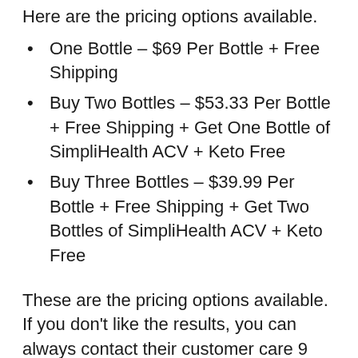Here are the pricing options available:
One Bottle – $69 Per Bottle + Free Shipping
Buy Two Bottles – $53.33 Per Bottle + Free Shipping + Get One Bottle of SimpliHealth ACV + Keto Free
Buy Three Bottles – $39.99 Per Bottle + Free Shipping + Get Two Bottles of SimpliHealth ACV + Keto Free
These are the pricing options available. If you don't like the results, you can always contact their customer care 9 am EST – 9 pm EST Mon-Sat with any questions and a full refund. They also offer a 30-day cash-back guarantee. Customers will need to keep the receipt included in their package for contact information to the customer care and